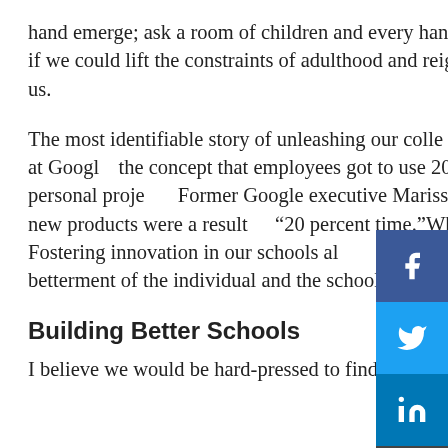hand emerge; ask a room of children and every hand will shoot up. Imagine what schools could do if we could lift the constraints of adulthood and reignite the passion and creativity inside each of us.
The most identifiable story of unleashing our collective creativity can be seen in “20 percent time” at Google, the concept that employees got to use 20 percent of their work time to explore/advance personal projects. Former Google executive Marissa Mayer estimates 50 percent of Google’s new products were a result of “20 percent time.”Why can’t schools be more like Google? Fostering innovation in our schools allows us to unleash the creativity inside each one of us for the betterment of the individual and the school community.
Building Better Schools
I believe we would be hard-pressed to find a school